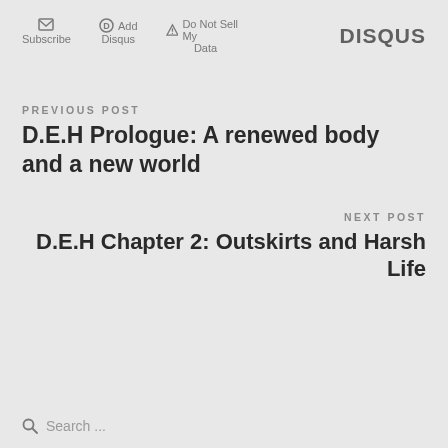Subscribe | Add Disqus | Do Not Sell My Data | DISQUS
PREVIOUS POST
D.E.H Prologue: A renewed body and a new world
NEXT POST
D.E.H Chapter 2: Outskirts and Harsh Life
Search ...